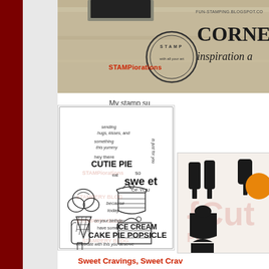[Figure (photo): STAMPiorations Cornelia blog header banner with stamp circle logo, brand name, and inspiration text on wooden background]
My stamp su
[Figure (illustration): Sweet Cravings stamp set sheet showing ice cream cone, pie slices, popsicle with text: sending hugs kisses and something this yummy, hey there CUTIE PIE, eat so sweet OF YOU, because today, on your birthday have some ICE CREAM CAKE PIE POPSICLE, celebrate with this you deserve]
[Figure (photo): Cut dies showing ice cream, popsicle and pie slice shapes in black with orange element, Cut Plus logo]
Sweet Cravings, Sweet Crav